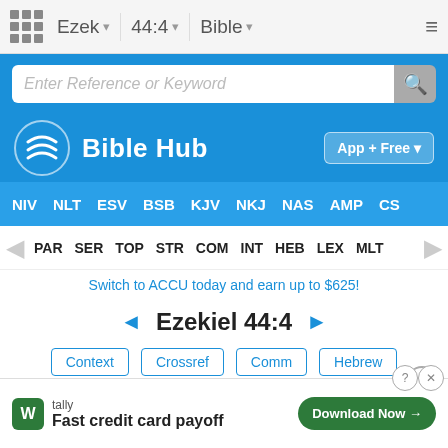Ezek  44:4  Bible
[Figure (screenshot): Bible Hub website search bar with blue background and input field reading 'Enter Reference or Keyword']
[Figure (logo): Bible Hub logo with wave icon and 'App + Free' download button]
NIV  NLT  ESV  BSB  KJV  NKJ  NAS  AMP  CS
PAR  SER  TOP  STR  COM  INT  HEB  LEX  MLT
Switch to ACCU today and earn up to $625!
◄ Ezekiel 44:4 ►
Context  Crossref  Comm  Hebrew
Verse (Click for Chapter)
New
Then
[Figure (screenshot): Tally app advertisement popup: 'Fast credit card payoff' with Download Now button]